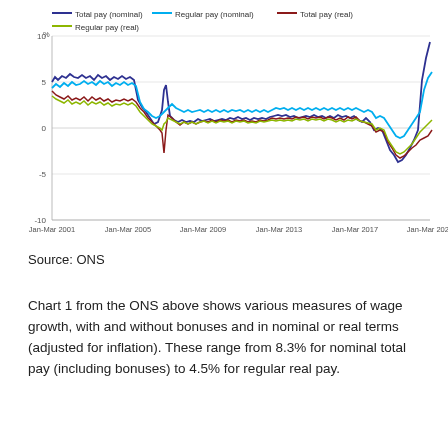[Figure (line-chart): Line chart showing four measures of UK wage growth from Jan-Mar 2001 to Jan-Mar 2021: Total pay nominal, Regular pay nominal, Total pay real, Regular pay real. Values range roughly from -10% to 9%+, with a sharp dip around 2009-2010 and a spike upward near 2021.]
Source: ONS
Chart 1 from the ONS above shows various measures of wage growth, with and without bonuses and in nominal or real terms (adjusted for inflation). These range from 8.3% for nominal total pay (including bonuses) to 4.5% for regular real pay.